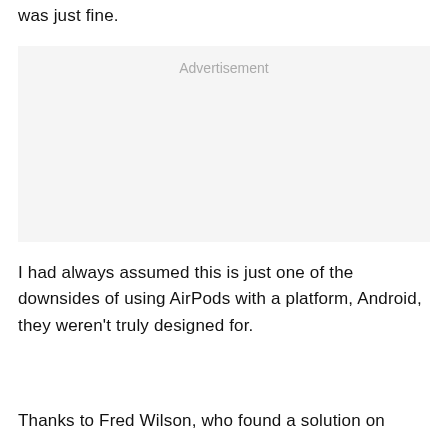was just fine.
[Figure (other): Advertisement placeholder box with light gray background and the word 'Advertisement' in gray text at the top center.]
I had always assumed this is just one of the downsides of using AirPods with a platform, Android, they weren't truly designed for.
Thanks to Fred Wilson, who found a solution on